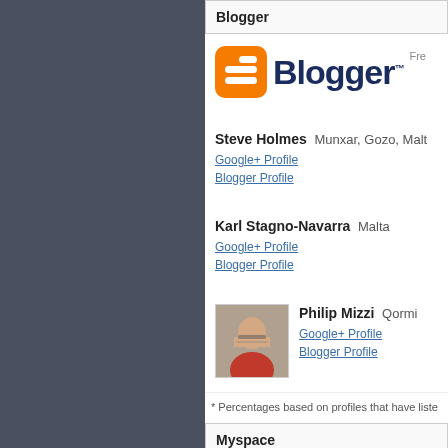Blogger
[Figure (logo): Blogger logo with orange icon and dark blue 'Blogger' wordmark text]
Steve Holmes Munxar, Gozo, Malta
Google+ Profile
Blogger Profile
Karl Stagno-Navarra Malta
Google+ Profile
Blogger Profile
[Figure (photo): Profile photo of Philip Mizzi, an older man with glasses]
Philip Mizzi Qormi
Google+ Profile
Blogger Profile
* Percentages based on profiles that have liste
Myspace